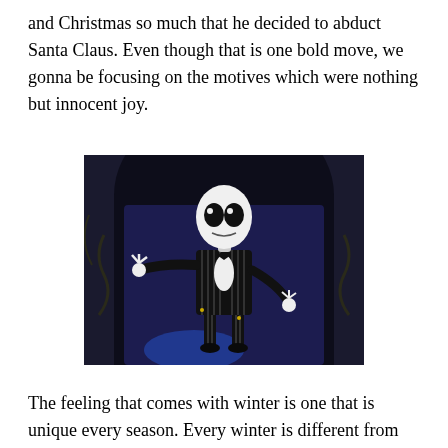and Christmas so much that he decided to abduct Santa Claus. Even though that is one bold move, we gonna be focusing on the motives which were nothing but innocent joy.
[Figure (illustration): Jack Skellington character from The Nightmare Before Christmas, standing in front of a dark doorway, wearing a black pinstripe suit with a bow tie, his skull-like white face visible, one arm extended outward.]
The feeling that comes with winter is one that is unique every season. Every winter is different from